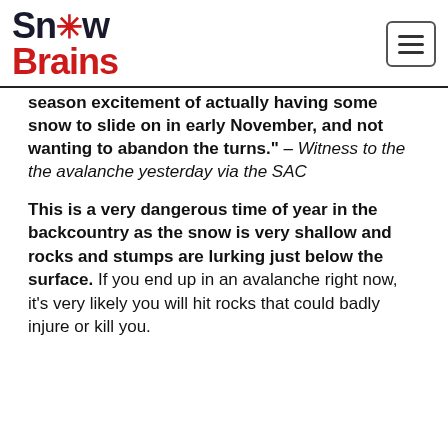SnowBrains
season excitement of actually having some snow to slide on in early November, and not wanting to abandon the turns." – Witness to the the avalanche yesterday via the SAC
This is a very dangerous time of year in the backcountry as the snow is very shallow and rocks and stumps are lurking just below the surface. If you end up in an avalanche right now, it's very likely you will hit rocks that could badly injure or kill you.